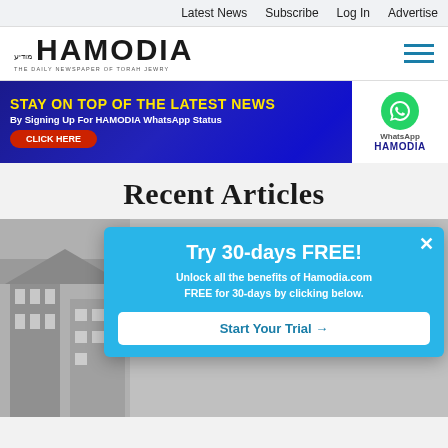Latest News  Subscribe  Log In  Advertise
[Figure (logo): Hamodia newspaper logo with Hebrew text and tagline 'THE DAILY NEWSPAPER OF TORAH JEWRY']
[Figure (infographic): Banner ad: STAY ON TOP OF THE LATEST NEWS By Signing Up For HAMODIA WhatsApp Status. CLICK HERE button. WhatsApp logo and HAMODIA text on white panel.]
Recent Articles
[Figure (photo): Grayscale photo of a stone building, partially obscured by popup overlay]
Try 30-days FREE! Unlock all the benefits of Hamodia.com FREE for 30-days by clicking below.
Start Your Trial →